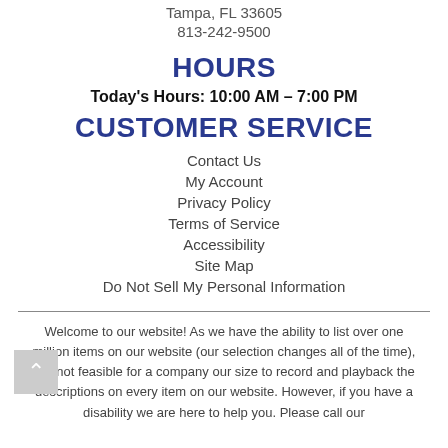Tampa, FL 33605
813-242-9500
HOURS
Today's Hours: 10:00 AM - 7:00 PM
CUSTOMER SERVICE
Contact Us
My Account
Privacy Policy
Terms of Service
Accessibility
Site Map
Do Not Sell My Personal Information
Welcome to our website! As we have the ability to list over one million items on our website (our selection changes all of the time), it is not feasible for a company our size to record and playback the descriptions on every item on our website. However, if you have a disability we are here to help you. Please call our